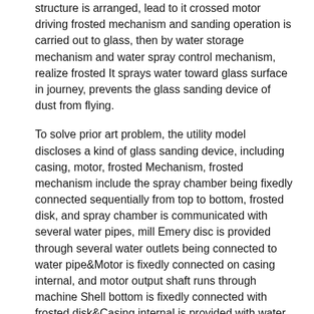structure is arranged, lead to it crossed motor driving frosted mechanism and sanding operation is carried out to glass, then by water storage mechanism and water spray control mechanism, realize frosted It sprays water toward glass surface in journey, prevents the glass sanding device of dust from flying.
To solve prior art problem, the utility model discloses a kind of glass sanding device, including casing, motor, frosted Mechanism, frosted mechanism include the spray chamber being fixedly connected sequentially from top to bottom, frosted disk, and spray chamber is communicated with several water pipes, mill Emery disc is provided through several water outlets being connected to water pipe&Motor is fixedly connected on casing internal, and motor output shaft runs through machine Shell bottom is fixedly connected with frosted disk&Casing internal is provided with water storage mechanism, and water storage mechanism includes being fixedly connected on motor side Water tank, the aqueduct that is connected to the bottom of storage tank, be connected at the top of aqueduct one end and spray chamber&Cabinet top is provided with spray Water management mechanism, water